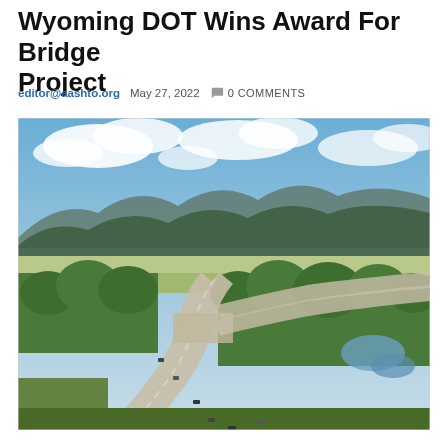Wyoming DOT Wins Award For Bridge Project
editor@aashto.org   May 27, 2022   0 COMMENTS
[Figure (photo): Aerial photograph of a Wyoming highway interchange with curving roads surrounded by green trees, open land, mountains in the background, and a partly cloudy blue sky]